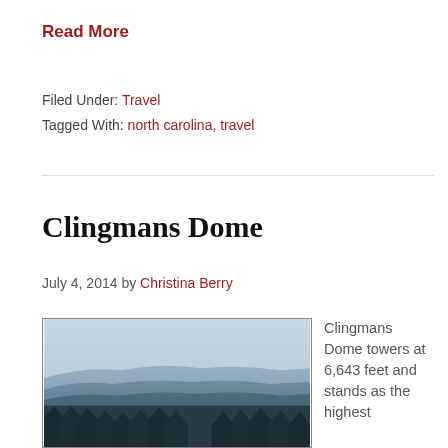Read More
Filed Under: Travel
Tagged With: north carolina, travel
Clingmans Dome
July 4, 2014 by Christina Berry
[Figure (photo): Misty blue-toned mountain landscape with layered ridges receding into haze and dark evergreen forest silhouettes in the foreground.]
Clingmans Dome towers at 6,643 feet and stands as the highest